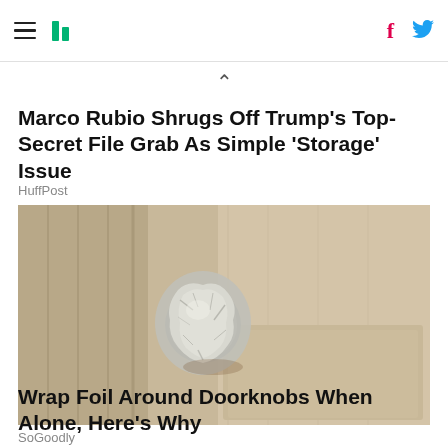HuffPost navigation header with hamburger menu, logo, Facebook and Twitter icons
Marco Rubio Shrugs Off Trump's Top-Secret File Grab As Simple 'Storage' Issue
HuffPost
[Figure (photo): A door knob wrapped in crinkled aluminum foil, with a beige/tan paneled door in the background.]
Wrap Foil Around Doorknobs When Alone, Here's Why
SoGoodly